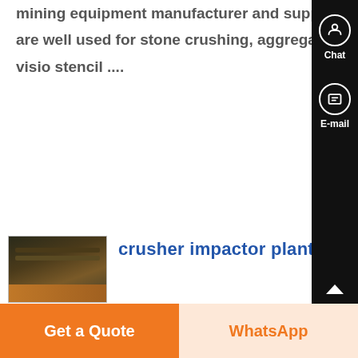mining equipment manufacturer and supplier Completed mining machines in our company are well used for stone crushing, aggregate manufacturing, sand making More coal mining visio stencil ....
[Figure (photo): Thumbnail image of crusher/industrial machinery equipment]
crusher impactor plant visio stencil
Crusher Impactor Plant Visio Stencil-SPECIAL Mining Crusher Impactor Plant Visio Stencil Sanding machine for visio sanding machine for visio mobile jaw crusher hammer crusher visio stencils